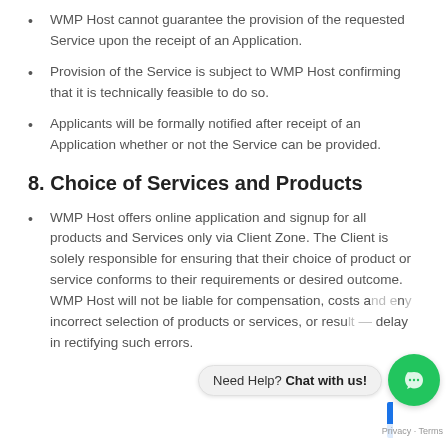WMP Host cannot guarantee the provision of the requested Service upon the receipt of an Application.
Provision of the Service is subject to WMP Host confirming that it is technically feasible to do so.
Applicants will be formally notified after receipt of an Application whether or not the Service can be provided.
8. Choice of Services and Products
WMP Host offers online application and signup for all products and Services only via Client Zone. The Client is solely responsible for ensuring that their choice of product or service conforms to their requirements or desired outcome. WMP Host will not be liable for compensation, costs a... n... incorrect selection of products or services, or resu... delay in rectifying such errors.